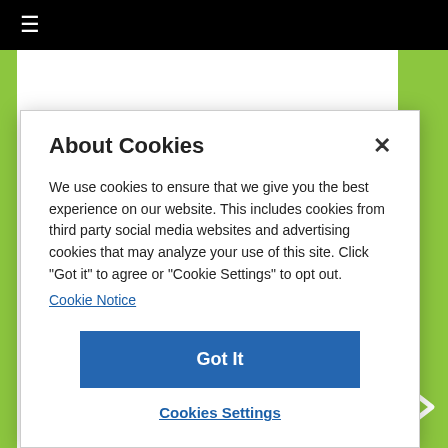≡
Typepad Tips & Tricks
About Cookies
We use cookies to ensure that we give you the best experience on our website. This includes cookies from third party social media websites and advertising cookies that may analyze your use of this site. Click "Got it" to agree or "Cookie Settings" to opt out.
Cookie Notice
Got It
Cookies Settings